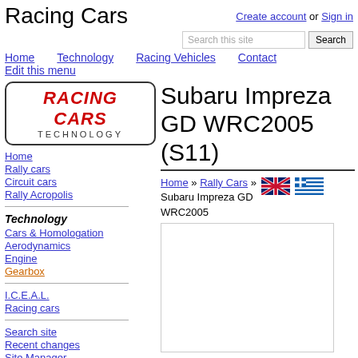Racing Cars
Create account or Sign in
Search this site  Search
Home  Technology  Racing Vehicles  Contact  Edit this menu
[Figure (logo): Racing Cars Technology logo in red italic bold text with border]
Home
Rally cars
Circuit cars
Rally Acropolis
Technology
Cars & Homologation
Aerodynamics
Engine
Gearbox
I.C.E.A.L.
Racing cars
Search site
Recent changes
Site Manager
Subaru Impreza GD WRC2005 (S11)
Home » Rally Cars » Subaru Impreza GD WRC2005
[Figure (photo): Empty white image box placeholder]